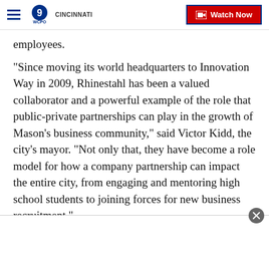WCPO 9 Cincinnati — Watch Now
employees.
“Since moving its world headquarters to Innovation Way in 2009, Rhinestahl has been a valued collaborator and a powerful example of the role that public-private partnerships can play in the growth of Mason’s business community,” said Victor Kidd, the city’s mayor. “Not only that, they have become a role model for how a company partnership can impact the entire city, from engaging and mentoring high school students to joining forces for new business recruitment.”